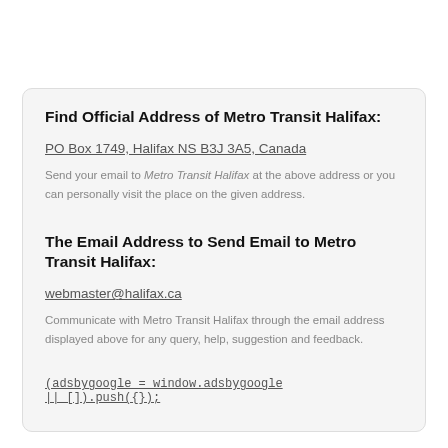Find Official Address of Metro Transit Halifax:
PO Box 1749, Halifax NS B3J 3A5, Canada
Send your email to Metro Transit Halifax at the above address or you can personally visit the place on the given address.
The Email Address to Send Email to Metro Transit Halifax:
webmaster@halifax.ca
Communicate with Metro Transit Halifax through the email address displayed above for any query, help, suggestion and feedback.
(adsbygoogle = window.adsbygoogle ||_[]).push({});